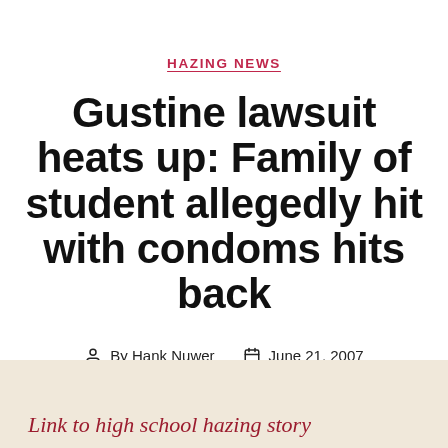HAZING NEWS
Gustine lawsuit heats up: Family of student allegedly hit with condoms hits back
By Hank Nuwer   June 21, 2007
No Comments
Link to high school hazing story